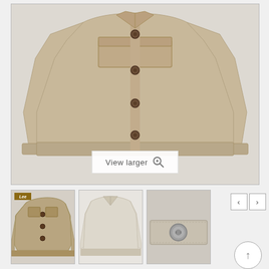[Figure (photo): Main product image of a beige/tan button-up trucker-style jacket displayed on a light grey background, with a 'View larger' button overlay at the bottom center.]
[Figure (photo): Thumbnail 1: Angled view of the same beige jacket showing the front buttons and chest pockets, with Lee brand logo visible.]
[Figure (photo): Thumbnail 2: Back or slightly angled view of the jacket in a lighter/off-white color.]
[Figure (photo): Thumbnail 3: Close-up detail of jacket cuff/button area.]